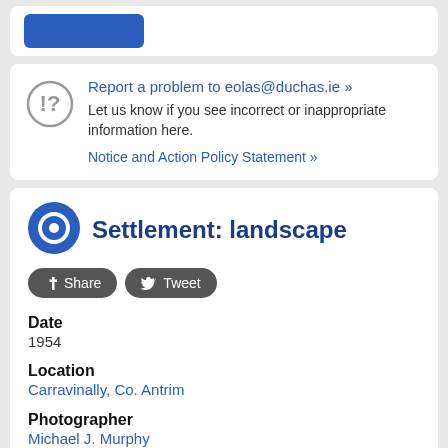[Figure (screenshot): Top card with a blue button partially visible]
Report a problem to eolas@duchas.ie »
Let us know if you see incorrect or inappropriate information here.
Notice and Action Policy Statement »
Settlement: landscape
Share  Tweet
Date
1954
Location
Carravinally, Co. Antrim
Photographer
Michael J. Murphy
Relevant persons